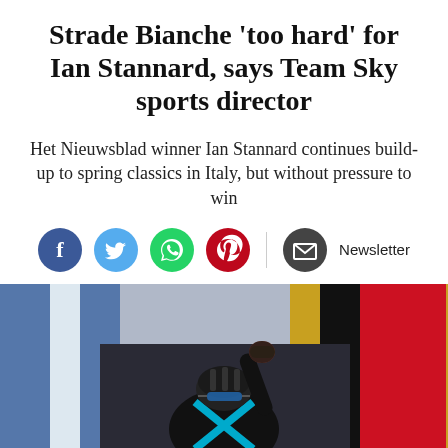Strade Bianche 'too hard' for Ian Stannard, says Team Sky sports director
Het Nieuwsblad winner Ian Stannard continues build-up to spring classics in Italy, but without pressure to win
[Figure (infographic): Social sharing icons: Facebook (blue), Twitter (light blue), WhatsApp (green), Pinterest (red), and envelope/Newsletter button]
[Figure (photo): Cyclist in Team Sky kit raising fist in victory celebration, wearing helmet and sunglasses, with flags in the background including Belgian flag]